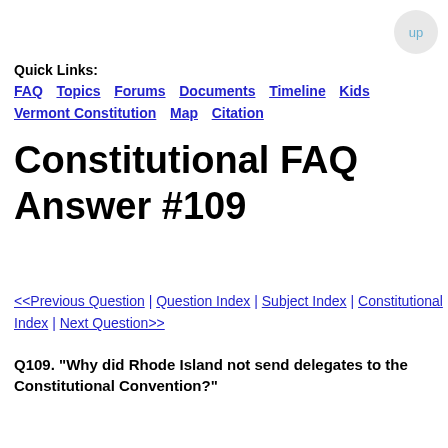up
Quick Links: FAQ  Topics  Forums  Documents  Timeline  Kids  Vermont Constitution  Map  Citation
Constitutional FAQ Answer #109
<<Previous Question | Question Index | Subject Index | Constitutional Index | Next Question>>
Q109. "Why did Rhode Island not send delegates to the Constitutional Convention?"